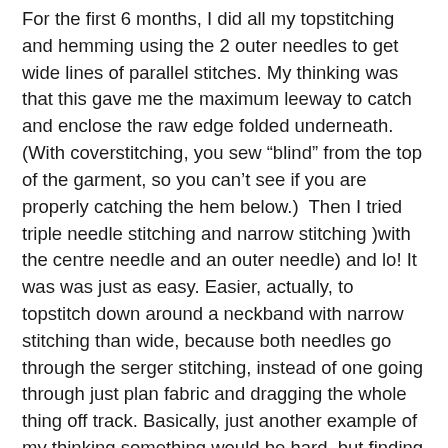For the first 6 months, I did all my topstitching and hemming using the 2 outer needles to get wide lines of parallel stitches. My thinking was that this gave me the maximum leeway to catch and enclose the raw edge folded underneath. (With coverstitching, you sew “blind” from the top of the garment, so you can’t see if you are properly catching the hem below.)  Then I tried triple needle stitching and narrow stitching )with the centre needle and an outer needle) and lo! It was was just as easy. Easier, actually, to topstitch down around a neckband with narrow stitching than wide, because both needles go through the serger stitching, instead of one going through just plan fabric and dragging the whole thing off track. Basically, just another example of my thinking something would be hard, but finding it simple once I gave it a shot!